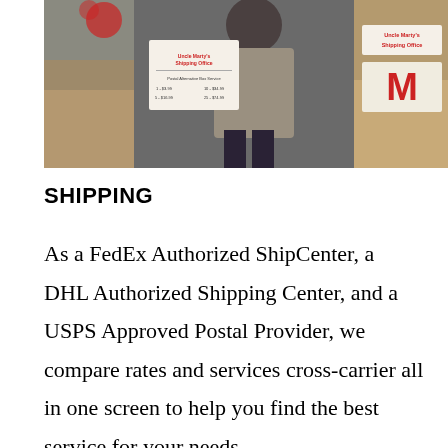[Figure (photo): A person standing behind a counter at Uncle Marty's Shipping Office, surrounded by brown cardboard boxes. A price sign is visible on the left, and a box with 'Uncle Marty's Shipping Office' label and a large red M logo is visible on the right.]
SHIPPING
As a FedEx Authorized ShipCenter, a DHL Authorized Shipping Center, and a USPS Approved Postal Provider, we compare rates and services cross-carrier all in one screen to help you find the best service for your needs